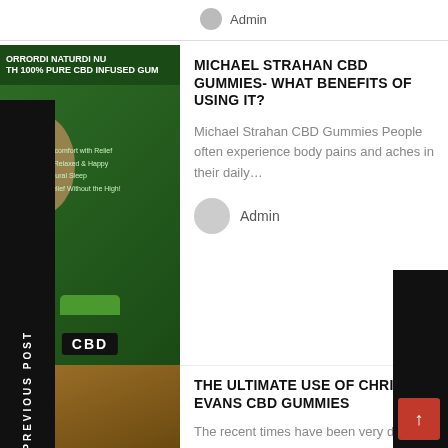Admin
[Figure (screenshot): CBD product image with green background, woman, checkmarks listing benefits: Support Discomfort with Relief, Feel Calm Relaxed & Happy, Support Natural Sleep, Powerful Relief Without the High, and a CBD jar]
MICHAEL STRAHAN CBD GUMMIES- WHAT BENEFITS OF USING IT?
Michael Strahan CBD Gummies People often experience body pains and aches in their daily…
Admin
[Figure (photo): Bowl of colorful gummy candies on wooden table with cannabis leaf in foreground, text GUMMIES overlaid]
THE ULTIMATE USE OF CHRIS EVANS CBD GUMMIES
The recent times have been very difficult for everyone. The person is tired and uncomfortable beca…